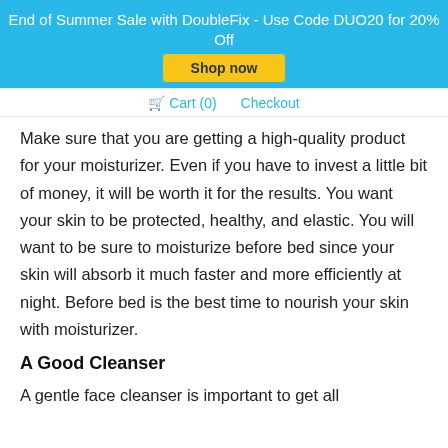End of Summer Sale with DoubleFix - Use Code DUO20 for 20% Off
Shop now
Cart (0)   Checkout
Make sure that you are getting a high-quality product for your moisturizer. Even if you have to invest a little bit of money, it will be worth it for the results. You want your skin to be protected, healthy, and elastic. You will want to be sure to moisturize before bed since your skin will absorb it much faster and more efficiently at night. Before bed is the best time to nourish your skin with moisturizer.
A Good Cleanser
A gentle face cleanser is important to get all